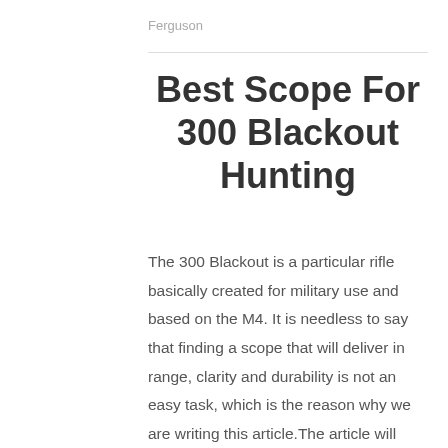Ferguson
Best Scope For 300 Blackout Hunting
The 300 Blackout is a particular rifle basically created for military use and based on the M4. It is needless to say that finding a scope that will deliver in range, clarity and durability is not an easy task, which is the reason why we are writing this article.The article will help you find the [...]